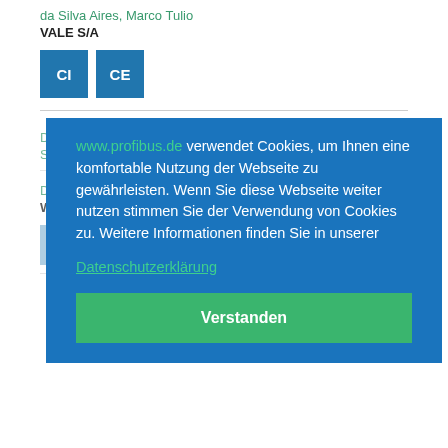da Silva Aires, Marco Tulio
VALE S/A
[Figure (other): Two blue square badges labeled CI and CE]
[Figure (other): Cookie consent overlay popup in German. Text: www.profibus.de verwendet Cookies, um Ihnen eine komfortable Nutzung der Webseite zu gewährleisten. Wenn Sie diese Webseite weiter nutzen stimmen Sie der Verwendung von Cookies zu. Weitere Informationen finden Sie in unserer Datenschutzerklärung. Button: Verstanden]
Dalket, Stefan
Windhoff Software Services GmbH